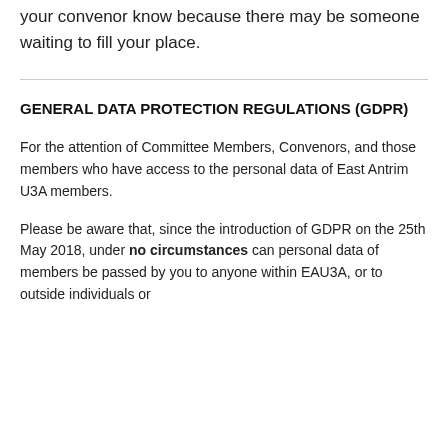your convenor know because there may be someone waiting to fill your place.
GENERAL DATA PROTECTION REGULATIONS (GDPR)
For the attention of Committee Members, Convenors, and those members who have access to the personal data of East Antrim U3A members.
Please be aware that, since the introduction of GDPR on the 25th May 2018, under no circumstances can personal data of members be passed by you to anyone within EAU3A, or to outside individuals or